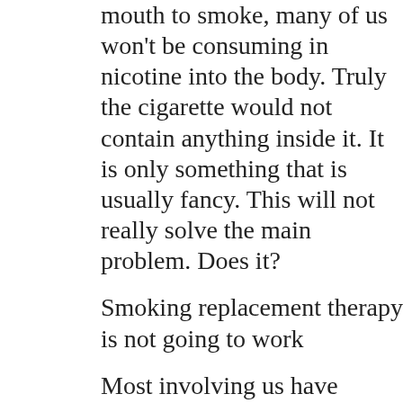mouth to smoke, many of us won't be consuming in nicotine into the body. Truly the cigarette would not contain anything inside it. It is only something that is usually fancy. This will not really solve the main problem. Does it?
Smoking replacement therapy is not going to work
Most involving us have gotten discouraged by the type of results that will we comes from typically the use of nicotine replacement therapy